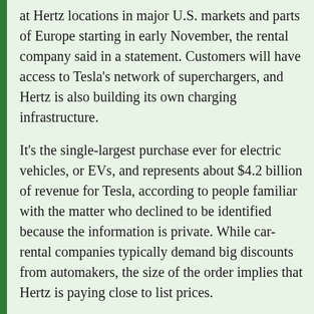at Hertz locations in major U.S. markets and parts of Europe starting in early November, the rental company said in a statement. Customers will have access to Tesla's network of superchargers, and Hertz is also building its own charging infrastructure.
It's the single-largest purchase ever for electric vehicles, or EVs, and represents about $4.2 billion of revenue for Tesla, according to people familiar with the matter who declined to be identified because the information is private. While car-rental companies typically demand big discounts from automakers, the size of the order implies that Hertz is paying close to list prices.
“How do we democratize access to electric vehicles? That’s a very important part of our strategy,” Mark Fields, who joined Hertz as interim chief executive officer earlier this month, said in an